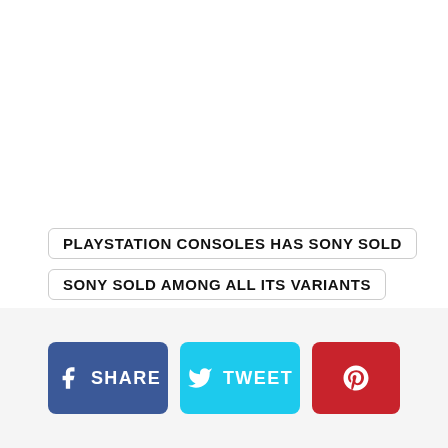PLAYSTATION CONSOLES HAS SONY SOLD
SONY SOLD AMONG ALL ITS VARIANTS